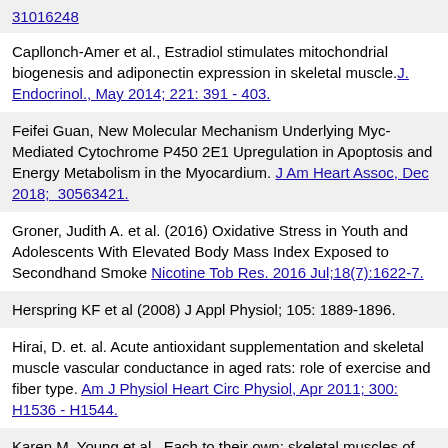31016248
Capllonch-Amer et al., Estradiol stimulates mitochondrial biogenesis and adiponectin expression in skeletal muscle. J. Endocrinol., May 2014; 221: 391 - 403.
Feifei Guan, New Molecular Mechanism Underlying Myc-Mediated Cytochrome P450 2E1 Upregulation in Apoptosis and Energy Metabolism in the Myocardium. J Am Heart Assoc, Dec 2018; 30563421.
Groner, Judith A. et al. (2016) Oxidative Stress in Youth and Adolescents With Elevated Body Mass Index Exposed to Secondhand Smoke Nicotine Tob Res. 2016 Jul;18(7):1622-7.
Herspring KF et al (2008) J Appl Physiol; 105: 1889-1896.
Hirai, D. et. al. Acute antioxidant supplementation and skeletal muscle vascular conductance in aged rats: role of exercise and fiber type. Am J Physiol Heart Circ Physiol, Apr 2011; 300: H1536 - H1544.
Karen M. Young et al., Each to their own: skeletal muscles of different function use different biochemical strategies during aestivation at high temperature. J. Exp. Biol., Mar 2013; 216: 1012 - 1024.
Mostafa Ibrahim Waly, The Protective Effect of Curcumin against Nitrosamine-Induced Gastric Oxidative Stress in Rats. Prev Nutr...